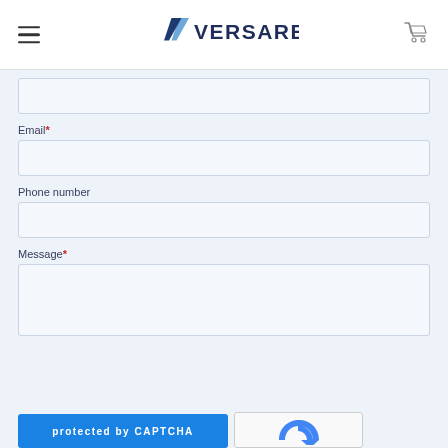Versare
Email*
Phone number
Message*